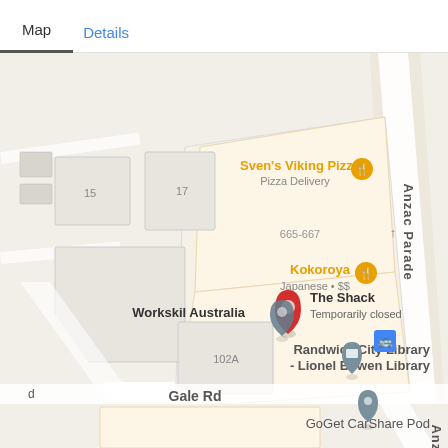Map
Details
[Figure (map): Google Maps view showing Anzac Parade area in Randwick, NSW. Shows Sven's Viking Pizza (Pizza Delivery), Kokoroya (Japanese $$) at 665-667, The Shack (Temporarily closed) with a red map pin, Workskil Australia, Randwick City Library - Lionel Bowen Library, GoGet CarShare Pod, Gale Rd street label, Anzac Parade street label, and a bus stop icon. Street numbers 15, 17, 102A visible.]